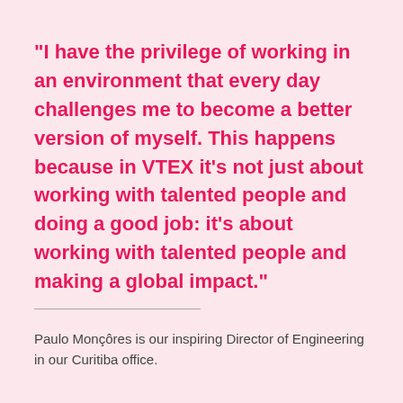"I have the privilege of working in an environment that every day challenges me to become a better version of myself. This happens because in VTEX it's not just about working with talented people and doing a good job: it's about working with talented people and making a global impact."
Paulo Monçôres is our inspiring Director of Engineering in our Curitiba office.